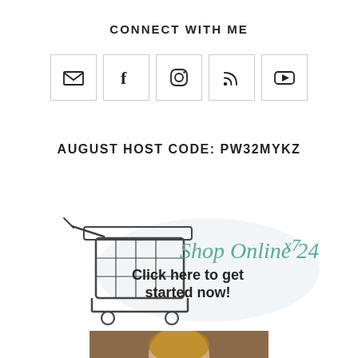CONNECT WITH ME
[Figure (infographic): Five social media icon boxes in a row: email/envelope, Facebook, Instagram, RSS feed, YouTube]
AUGUST HOST CODE: PW32MYKZ
[Figure (infographic): Shop Online 24x7 banner with a shopping cart illustration and text 'Click here to get started now!']
[Figure (photo): Partial photo at bottom of page, cropped, showing a person]